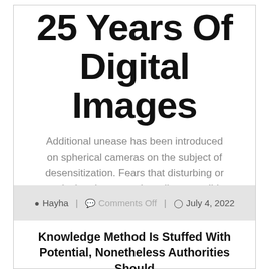25 Years Of Digital Images
Additional unease has been introduced on spherical cameras on the subject of desensitization. Fears that disturbing or particular photos are broadly accessible to youngsters and society at giant have been raised. Significantly, photos of struggle …
READ MORE
Hayha | Comments Off | July 4, 2022
Knowledge Method Is Stuffed With Potential, Nonetheless Authorities Should